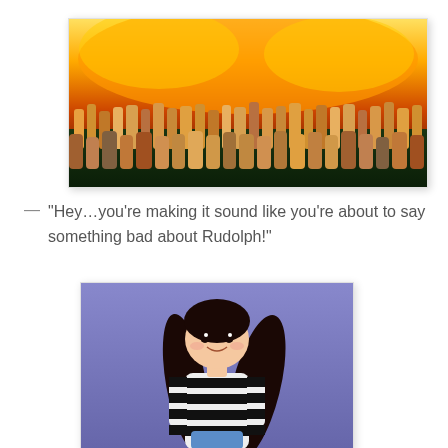[Figure (illustration): Screenshot from The Simpsons showing a large crowd of animated characters with flames/fire rising behind them, set against a dark background.]
— “Hey…you’re making it sound like you’re about to say something bad about Rudolph!”
[Figure (illustration): Cartoon illustration of a young woman with long dark hair, wearing a black and white striped top, smiling and posed against a purple/blue background.]